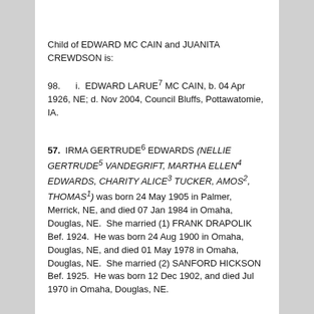Child of EDWARD MC CAIN and JUANITA CREWDSON is:
98.      i.  EDWARD LARUE⁷ MC CAIN, b. 04 Apr 1926, NE; d. Nov 2004, Council Bluffs, Pottawatomie, IA.
57.  IRMA GERTRUDE⁶ EDWARDS (NELLIE GERTRUDE⁵ VANDEGRIFT, MARTHA ELLEN⁴ EDWARDS, CHARITY ALICE³ TUCKER, AMOS², THOMAS¹) was born 24 May 1905 in Palmer, Merrick, NE, and died 07 Jan 1984 in Omaha, Douglas, NE.  She married (1) FRANK DRAPOLIK Bef. 1924.  He was born 24 Aug 1900 in Omaha, Douglas, NE, and died 01 May 1978 in Omaha, Douglas, NE.  She married (2) SANFORD HICKSON Bef. 1925.  He was born 12 Dec 1902, and died Jul 1970 in Omaha, Douglas, NE.